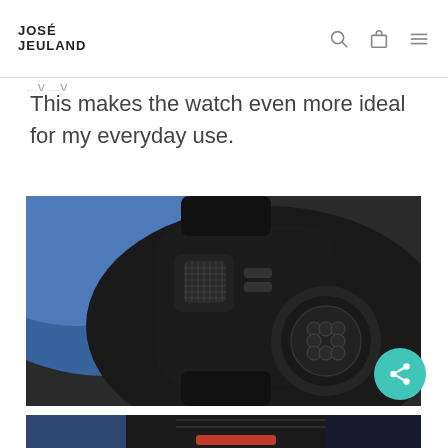JOSÉ JEULAND
This makes the watch even more ideal for my everyday use.
[Figure (photo): Close-up macro photograph of a black smartwatch (likely Apple Watch) showing the crown/button detail and sensor array on the back, against a blue blurred background.]
[Figure (photo): Partial view of a smartwatch with a dark band showing red accent, cropped at the bottom of the page.]